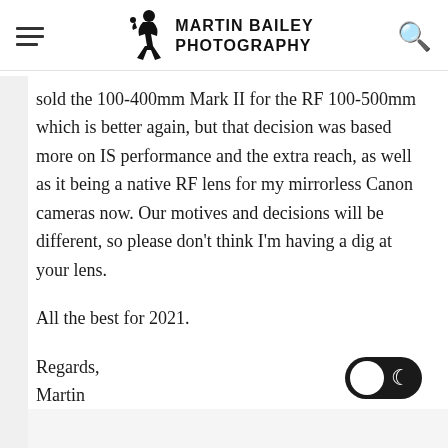Martin Bailey Photography
sold the 100-400mm Mark II for the RF 100-500mm which is better again, but that decision was based more on IS performance and the extra reach, as well as it being a native RF lens for my mirrorless Canon cameras now. Our motives and decisions will be different, so please don't think I'm having a dig at your lens.
All the best for 2021.
Regards,
Martin